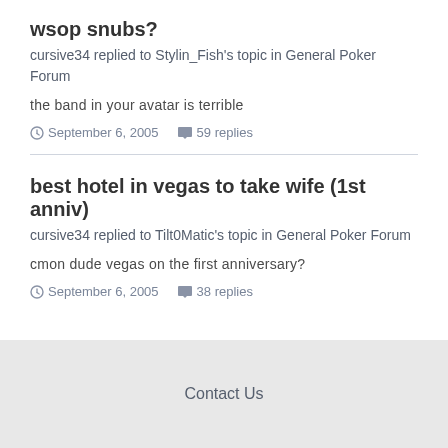wsop snubs?
cursive34 replied to Stylin_Fish's topic in General Poker Forum
the band in your avatar is terrible
September 6, 2005   59 replies
best hotel in vegas to take wife (1st anniv)
cursive34 replied to Tilt0Matic's topic in General Poker Forum
cmon dude vegas on the first anniversary?
September 6, 2005   38 replies
Contact Us